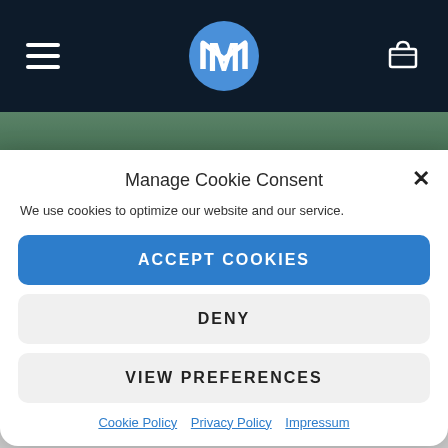[Figure (screenshot): Motorola website navigation bar with hamburger menu icon on left, Motorola 'M' logo in center on blue circle, and shopping cart icon on right, on dark navy background]
Manage Cookie Consent
We use cookies to optimize our website and our service.
ACCEPT COOKIES
DENY
VIEW PREFERENCES
Cookie Policy   Privacy Policy   Impressum
Phone Compatibility
Features